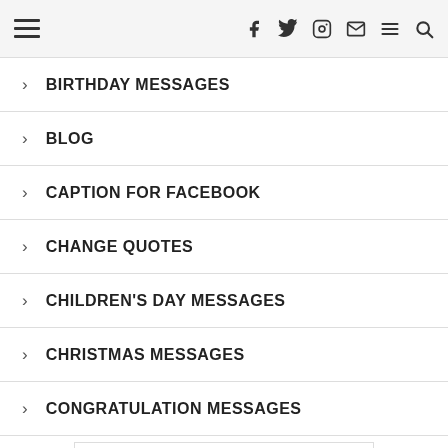Navigation bar with hamburger menu and social icons (f, twitter, instagram, mail, menu, search)
BIRTHDAY MESSAGES
BLOG
CAPTION FOR FACEBOOK
CHANGE QUOTES
CHILDREN'S DAY MESSAGES
CHRISTMAS MESSAGES
CONGRATULATION MESSAGES
[Figure (screenshot): Lidl advertisement banner showing Lidl logo, checkmark, 'In-store shopping' text, and a blue diamond arrow icon]